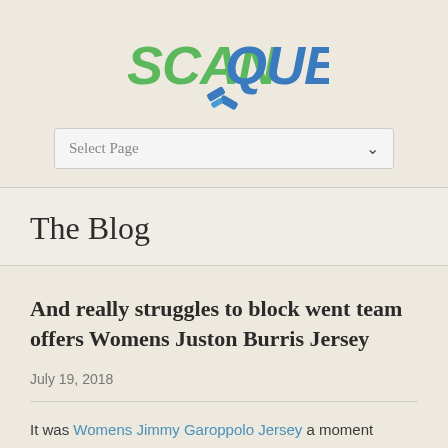[Figure (logo): ScanQuest logo with green 'SCAN' text and blue 'QUEST' text with a blue arrow/chevron icon beneath]
Select Page
The Blog
And really struggles to block went team offers Womens Juston Burris Jersey
July 19, 2018
It was Womens Jimmy Garoppolo Jersey a moment captured for posterity by Post-Gazette